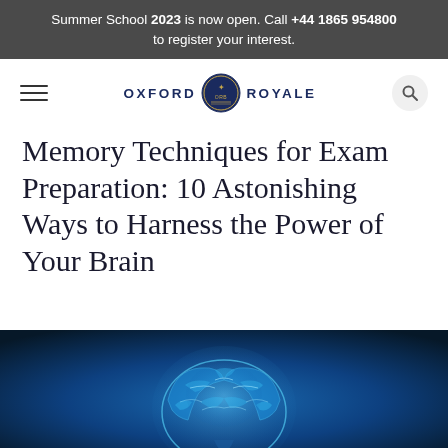Summer School 2023 is now open. Call +44 1865 954800 to register your interest.
[Figure (logo): Oxford Royale logo with hamburger menu and search icon navigation bar]
Memory Techniques for Exam Preparation: 10 Astonishing Ways to Harness the Power of Your Brain
[Figure (photo): A glowing blue medical illustration of a human brain on a dark blue background]